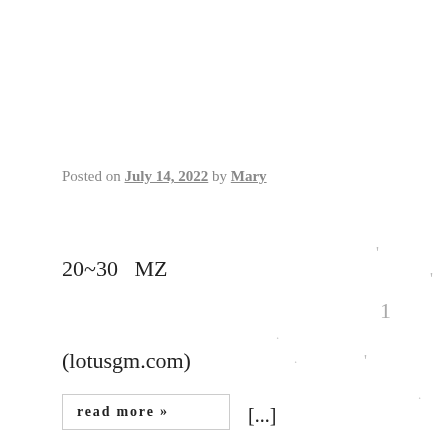Posted on July 14, 2022 by Mary
20~30   MZ
(lotusgm.com)
Part1.                    ?          [...]
read more »